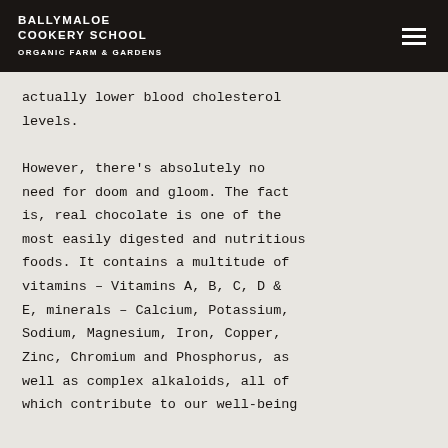BALLYMALOE COOKERY SCHOOL ORGANIC FARM & GARDENS
actually lower blood cholesterol levels.

However, there’s absolutely no need for doom and gloom. The fact is, real chocolate is one of the most easily digested and nutritious foods. It contains a multitude of vitamins – Vitamins A, B, C, D & E, minerals – Calcium, Potassium, Sodium, Magnesium, Iron, Copper, Zinc, Chromium and Phosphorus, as well as complex alkaloids, all of which contribute to our well-being